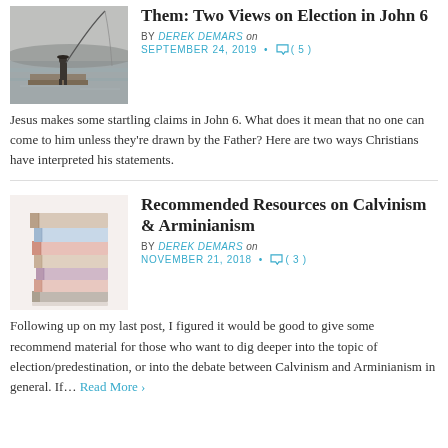Them: Two Views on Election in John 6
BY DEREK DEMARS on SEPTEMBER 24, 2019 • ( 5 )
Jesus makes some startling claims in John 6. What does it mean that no one can come to him unless they're drawn by the Father? Here are two ways Christians have interpreted his statements.
Recommended Resources on Calvinism & Arminianism
BY DEREK DEMARS on NOVEMBER 21, 2018 • ( 3 )
Following up on my last post, I figured it would be good to give some recommend material for those who want to dig deeper into the topic of election/predestination, or into the debate between Calvinism and Arminianism in general. If… Read More ›